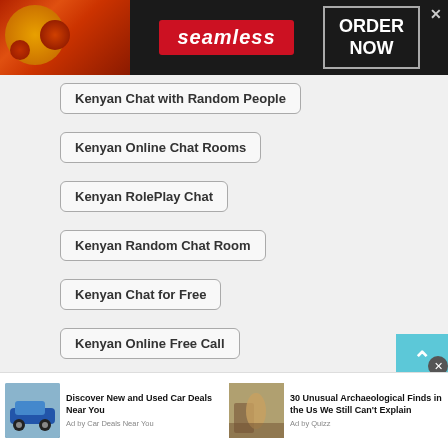[Figure (screenshot): Seamless food delivery banner advertisement with pizza image, seamless logo in red badge, and ORDER NOW button]
Kenyan Chat with Random People
Kenyan Online Chat Rooms
Kenyan RolePlay Chat
Kenyan Random Chat Room
Kenyan Chat for Free
Kenyan Online Free Call
Kenyan Omegle Teen
Kenyan Call
[Figure (screenshot): Bottom advertisement bar with two ads: 'Discover New and Used Car Deals Near You' by Car Deals Near You, and '30 Unusual Archaeological Finds in the Us We Still Can't Explain' by Quizz]